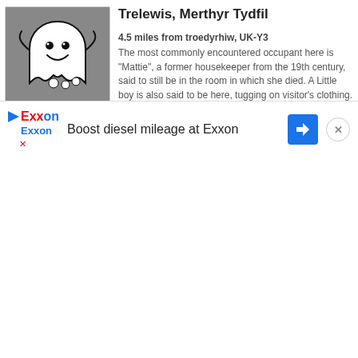[Figure (illustration): Ghost illustration: cartoon white ghost with smiley face on grey background]
Trelewis, Merthyr Tydfil
4.5 miles from troedyrhiw, UK-Y3
The most commonly encountered occupant here is "Mattie", a former housekeeper from the 19th century, said to still be in the room in which she died. A Little boy is also said to be here, tugging on visitor's clothing. The ghosts here also make a common appearance on video or ...
Read more »
[Figure (infographic): Exxon advertisement: Boost diesel mileage at Exxon, with Exxon logo, blue navigation arrow icon, and close button]